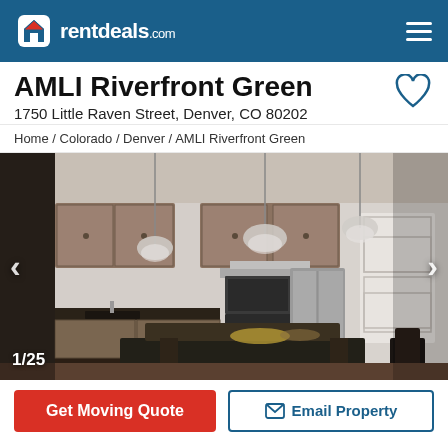rentdeals.com
AMLI Riverfront Green
1750 Little Raven Street, Denver, CO 80202
Home / Colorado / Denver / AMLI Riverfront Green
[Figure (photo): Interior photo of a modern apartment kitchen with dark wood cabinetry, stainless steel appliances, a large island with dark countertop, pendant lights, and dining chairs. Photo 1 of 25.]
Get Moving Quote
Email Property